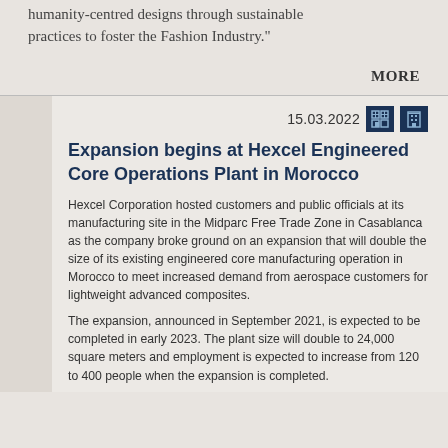humanity-centred designs through sustainable practices to foster the Fashion Industry."
MORE
15.03.2022
Expansion begins at Hexcel Engineered Core Operations Plant in Morocco
Hexcel Corporation hosted customers and public officials at its manufacturing site in the Midparc Free Trade Zone in Casablanca as the company broke ground on an expansion that will double the size of its existing engineered core manufacturing operation in Morocco to meet increased demand from aerospace customers for lightweight advanced composites.
The expansion, announced in September 2021, is expected to be completed in early 2023. The plant size will double to 24,000 square meters and employment is expected to increase from 120 to 400 people when the expansion is completed.
The Casablanca facility was built as part of Hexcel's ongoing worldwide investment to create a diversified and robust global supply chain to